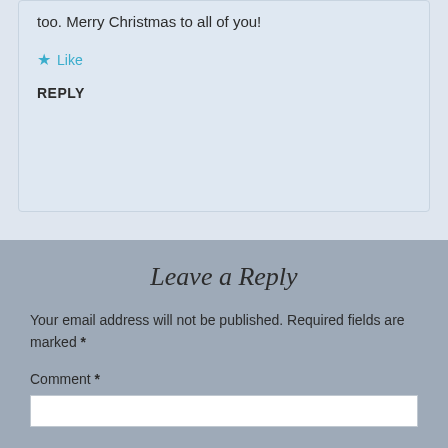too. Merry Christmas to all of you!
★ Like
REPLY
Leave a Reply
Your email address will not be published. Required fields are marked *
Comment *